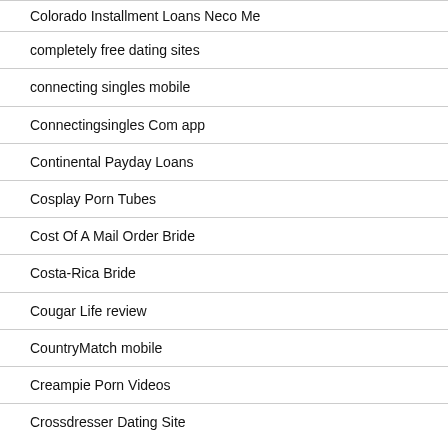Colorado Installment Loans Neco Me
completely free dating sites
connecting singles mobile
Connectingsingles Com app
Continental Payday Loans
Cosplay Porn Tubes
Cost Of A Mail Order Bride
Costa-Rica Bride
Cougar Life review
CountryMatch mobile
Creampie Porn Videos
Crossdresser Dating Site